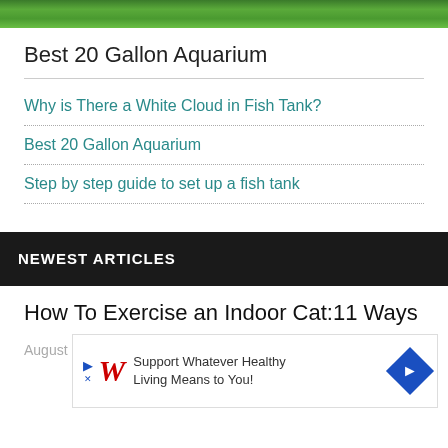[Figure (photo): Top portion of an aquarium/fish tank with green plants visible]
Best 20 Gallon Aquarium
Why is There a White Cloud in Fish Tank?
Best 20 Gallon Aquarium
Step by step guide to set up a fish tank
NEWEST ARTICLES
How To Exercise an Indoor Cat:11 Ways
August
[Figure (other): Walgreens advertisement: Support Whatever Healthy Living Means to You!]